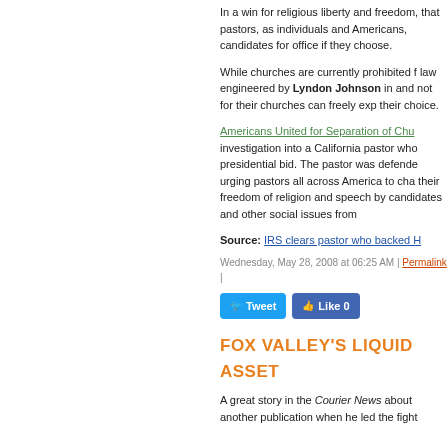In a win for religious liberty and freedom, that pastors, as individuals and Americans, candidates for office if they choose.
While churches are currently prohibited from, law engineered by Lyndon Johnson in, and not for their churches can freely express their choice.
Americans United for Separation of Church investigation into a California pastor who presidential bid. The pastor was defended, urging pastors all across America to challenge their freedom of religion and speech by discussing candidates and other social issues from
Source: IRS clears pastor who backed H
Wednesday, May 28, 2008 at 06:25 AM | Permalink |
FOX VALLEY'S LIQUID ASSET
A great story in the Courier News about another publication when he led the fight